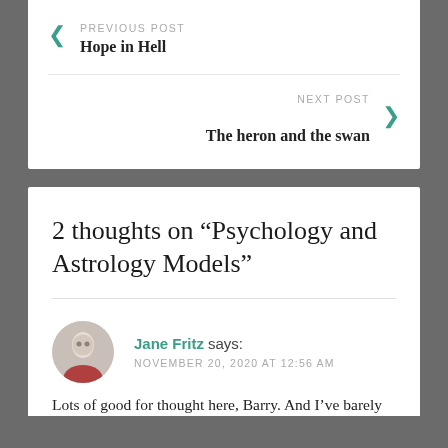PREVIOUS POST
Hope in Hell
NEXT POST
The heron and the swan
2 thoughts on “Psychology and Astrology Models”
Jane Fritz says:
NOVEMBER 20, 2020 AT 12:56 AM
Lots of good for thought here, Barry. And I’ve barely